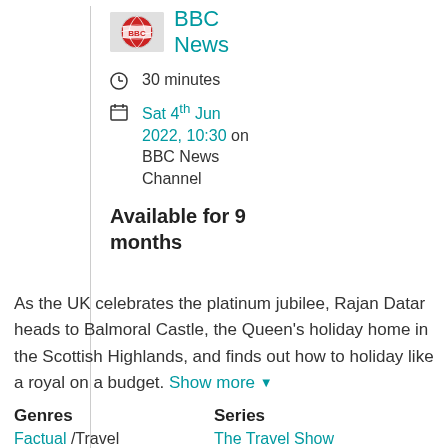[Figure (logo): BBC News logo - red globe with BBC text]
BBC News
30 minutes
Sat 4th Jun 2022, 10:30 on BBC News Channel
Available for 9 months
As the UK celebrates the platinum jubilee, Rajan Datar heads to Balmoral Castle, the Queen's holiday home in the Scottish Highlands, and finds out how to holiday like a royal on a budget. Show more
Genres
Series
Factual /Travel
The Travel Show